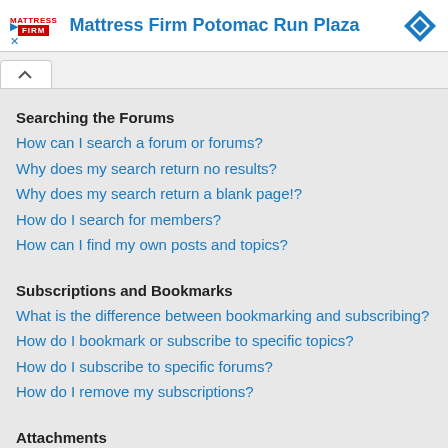[Figure (other): Advertisement banner for Mattress Firm Potomac Run Plaza with logo, title text in blue, and a blue diamond icon]
Searching the Forums
How can I search a forum or forums?
Why does my search return no results?
Why does my search return a blank page!?
How do I search for members?
How can I find my own posts and topics?
Subscriptions and Bookmarks
What is the difference between bookmarking and subscribing?
How do I bookmark or subscribe to specific topics?
How do I subscribe to specific forums?
How do I remove my subscriptions?
Attachments
What attachments are allowed on this board?
How do I find all my attachments?
phpBB Issues
Who wrote this bulletin board?